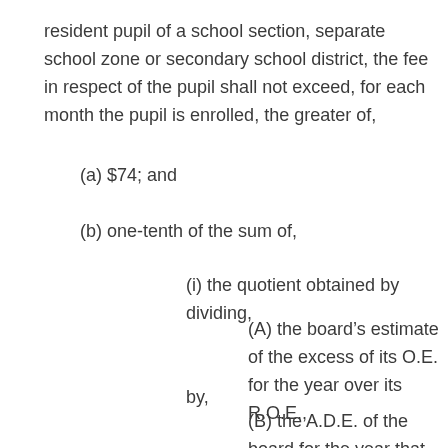resident pupil of a school section, separate school zone or secondary school district, the fee in respect of the pupil shall not exceed, for each month the pupil is enrolled, the greater of,
(a) $74; and
(b) one-tenth of the sum of,
(i) the quotient obtained by dividing,
(A) the board’s estimate of the excess of its O.E. for the year over its R.O.E.,
by,
(B) the A.D.E. of the board for the year that is in respect of